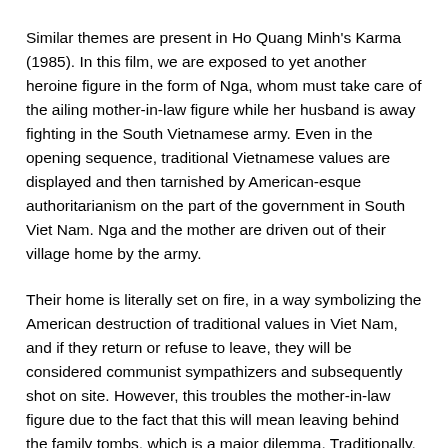Similar themes are present in Ho Quang Minh's Karma (1985). In this film, we are exposed to yet another heroine figure in the form of Nga, whom must take care of the ailing mother-in-law figure while her husband is away fighting in the South Vietnamese army. Even in the opening sequence, traditional Vietnamese values are displayed and then tarnished by American-esque authoritarianism on the part of the government in South Viet Nam. Nga and the mother are driven out of their village home by the army.
Their home is literally set on fire, in a way symbolizing the American destruction of traditional values in Viet Nam, and if they return or refuse to leave, they will be considered communist sympathizers and subsequently shot on site. However, this troubles the mother-in-law figure due to the fact that this will mean leaving behind the family tombs, which is a major dilemma. Traditionally, the family would care for the tombs to ensure that the spirits of their ancestors and past loved ones would be content.
This view is in itself very traditionally American. In McCarthy-ism.